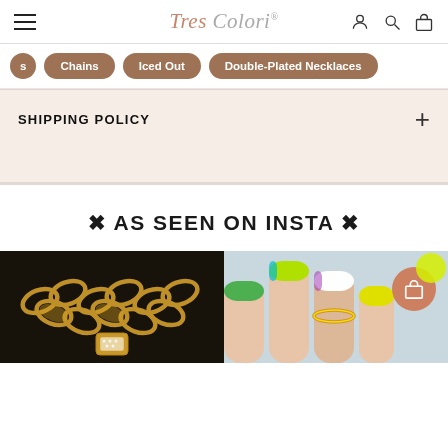Tres Colori
Chains
Iced Out
Double-Plated Necklaces
SHIPPING POLICY
✦ AS SEEN ON INSTA ✦
[Figure (photo): Close-up of a gold Cuban link chain necklace with a diamond-encrusted pendant on a dark background]
[Figure (photo): Hand with colorful nails wearing rings, with a shopping cart icon overlay]